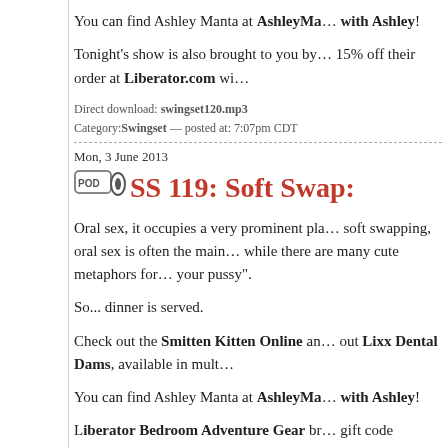You can find Ashley Manta at AshleyMa... with Ashley!
Tonight's show is also brought to you by ... 15% off their order at Liberator.com wi...
Direct download: swingset120.mp3
Category: Swingset — posted at: 7:07pm CDT
Mon, 3 June 2013
SS 119: Soft Swap:
Oral sex, it occupies a very prominent pla... soft swapping, oral sex is often the main ... while there are many cute metaphors for ... your pussy".
So... dinner is served.
Check out the Smitten Kitten Online an... out Lixx Dental Dams, available in mult...
You can find Ashley Manta at AshleyMa... with Ashley!
Liberator Bedroom Adventure Gear br... gift code SWINGSET to save 15% off u...